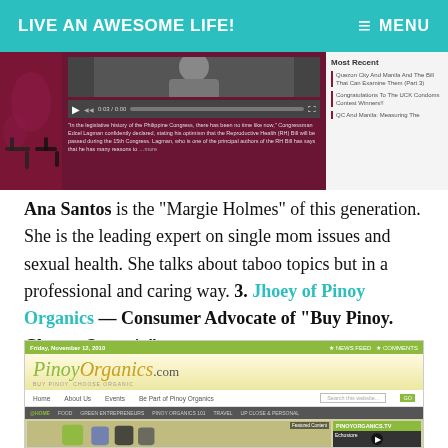LIVE AN AWESOME LIFE! MENU
[Figure (screenshot): Screenshot of a website about the Reproductive Health (RH) Bill with a video player, caption text, and 'Most Recent' sidebar links]
Ana Santos is the "Margie Holmes" of this generation. She is the leading expert on single mom issues and sexual health. She talks about taboo topics but in a professional and caring way. 3. Jhoey of Pinoy Organics — Consumer Advocate of "Buy Pinoy. Choose Organic"
[Figure (screenshot): Screenshot of PinoyOrganics.com website showing the homepage with navigation, featured content, and PinoyOrganics.TV section with Echostore video]